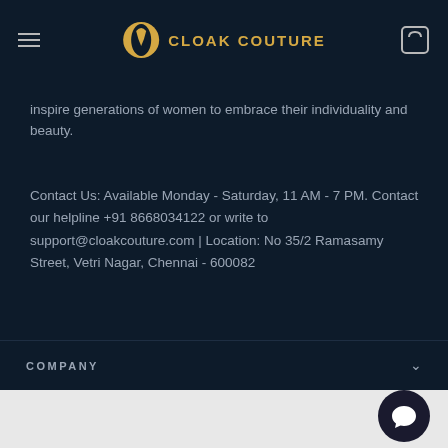CLOAK COUTURE
inspire generations of women to embrace their individuality and beauty.
Contact Us: Available Monday - Saturday, 11 AM - 7 PM. Contact our helpline +91 8668034122 or write to support@cloakcouture.com | Location: No 35/2 Ramasamy Street, Vetri Nagar, Chennai - 600082
COMPANY